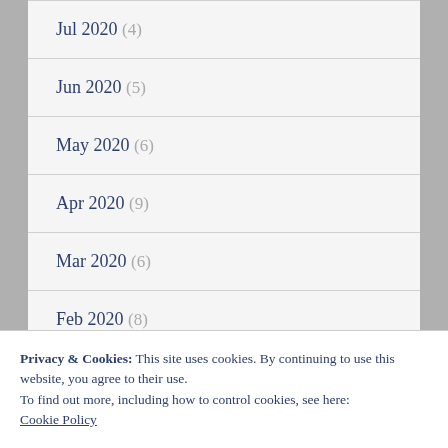Jul 2020 (4)
Jun 2020 (5)
May 2020 (6)
Apr 2020 (9)
Mar 2020 (6)
Feb 2020 (8)
Privacy & Cookies: This site uses cookies. By continuing to use this website, you agree to their use.
To find out more, including how to control cookies, see here: Cookie Policy
Close and accept
Oct 2019 (6)